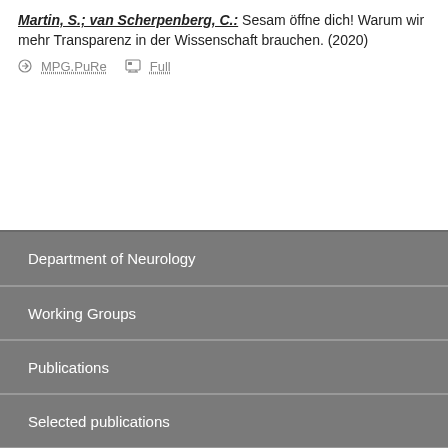Martin, S.; van Scherpenberg, C.: Sesam öffne dich! Warum wir mehr Transparenz in der Wissenschaft brauchen. (2020)
MPG.PuRe   Full
Department of Neurology
Working Groups
Publications
Selected publications
Staff